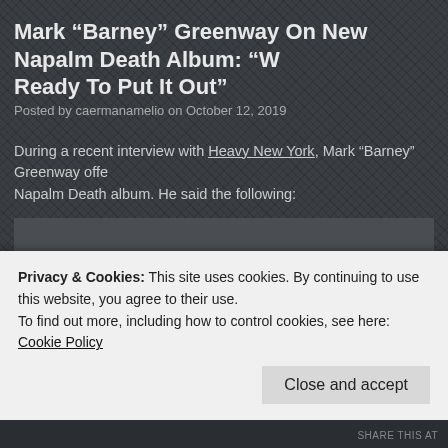Mark “Barney” Greenway On New Napalm Death Album: “We’re Ready To Put It Out”
Posted by caermanamelio on October 12, 2019
During a recent interview with Heavy New York, Mark “Barney” Greenway offered an update on the new Napalm Death album. He said the following:
“We’ve been kind of promising something for quite a while, but unforeseen circumstances kind of got in the way. And this one has taken a lot longer. We’re all good with it. We’ve kind of accepted the fact that it has taken quite a while. And recently, there have been other small delays — minor things — here and there. But, yeah, we’re almost ready to put it out. Overall, I’m not particularly pleased with myself that it’s taken this long due to my contribution to it. But it is what it is.”
Privacy & Cookies: This site uses cookies. By continuing to use this website, you agree to their use. To find out more, including how to control cookies, see here: Cookie Policy
Close and accept